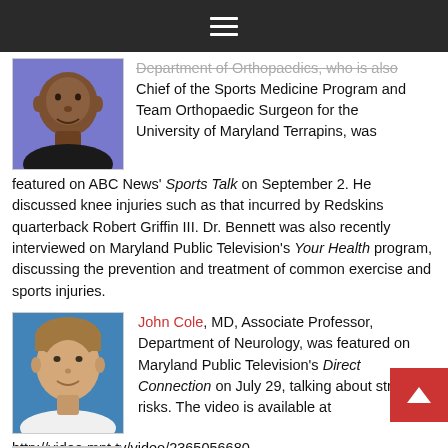Navigation menu icon (hamburger)
[Figure (photo): Headshot of an African American man against a purple/blue background]
Department of Orthopaedics, who is also Chief of the Sports Medicine Program and Team Orthopaedic Surgeon for the University of Maryland Terrapins, was featured on ABC News' Sports Talk on September 2. He discussed knee injuries such as that incurred by Redskins quarterback Robert Griffin III. Dr. Bennett was also recently interviewed on Maryland Public Television's Your Health program, discussing the prevention and treatment of common exercise and sports injuries.
[Figure (photo): Headshot of John Cole, a man with light brown hair against a blue background]
John Cole, MD, Associate Professor, Department of Neurology, was featured on Maryland Public Television's Direct Connection on July 29, talking about stroke risks. The video is available at http://video.mpt.tv/video/2365056680.